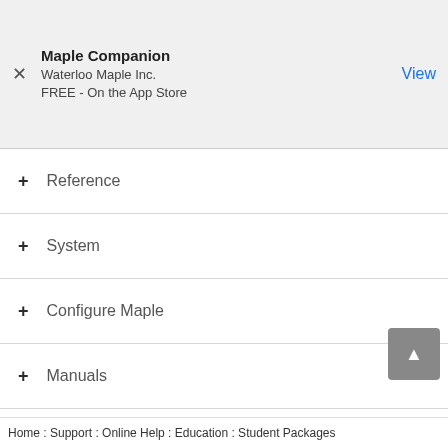Maple Companion
Waterloo Maple Inc.
FREE - On the App Store
Reference
System
Configure Maple
Manuals
Tasks
Toolboxes
MapleSim
MapleSim Toolboxes
Home : Support : Online Help : Education : Student Packages